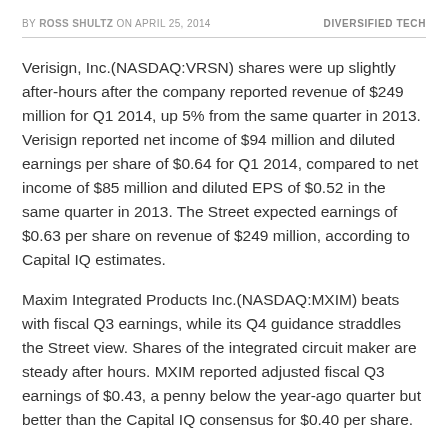BY ROSS SHULTZ ON APRIL 25, 2014    DIVERSIFIED TECH
Verisign, Inc.(NASDAQ:VRSN) shares were up slightly after-hours after the company reported revenue of $249 million for Q1 2014, up 5% from the same quarter in 2013. Verisign reported net income of $94 million and diluted earnings per share of $0.64 for Q1 2014, compared to net income of $85 million and diluted EPS of $0.52 in the same quarter in 2013. The Street expected earnings of $0.63 per share on revenue of $249 million, according to Capital IQ estimates.
Maxim Integrated Products Inc.(NASDAQ:MXIM) beats with fiscal Q3 earnings, while its Q4 guidance straddles the Street view. Shares of the integrated circuit maker are steady after hours. MXIM reported adjusted fiscal Q3 earnings of $0.43, a penny below the year-ago quarter but better than the Capital IQ consensus for $0.40 per share.